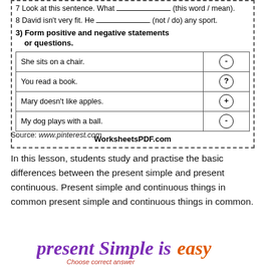7 Look at this sentence. What ________ (this word / mean).
8 David isn't very fit. He ________ (not / do) any sport.
3) Form positive and negative statements or questions.
|  |  |
| --- | --- |
| She sits on a chair. | (-) |
| You read a book. | (?) |
| Mary doesn't like apples. | (+) |
| My dog plays with a ball. | (-) |
WorksheetsPDF.com
Source: www.pinterest.com
In this lesson, students study and practise the basic differences between the present simple and present continuous. Present simple and continuous things in common present simple and continuous things in common.
[Figure (illustration): Decorative text image reading 'present Simple is easy' in italic bold purple and orange font, with smaller red italic text 'Choose correct answer' below.]